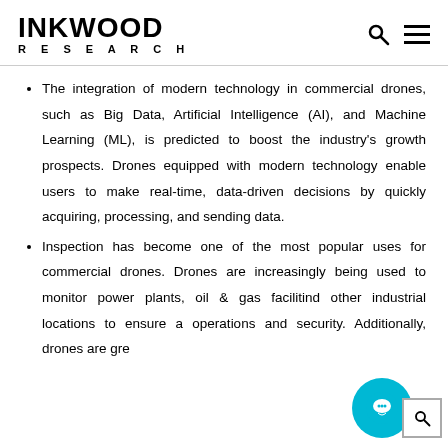INKWOOD RESEARCH
The integration of modern technology in commercial drones, such as Big Data, Artificial Intelligence (AI), and Machine Learning (ML), is predicted to boost the industry's growth prospects. Drones equipped with modern technology enable users to make real-time, data-driven decisions by quickly acquiring, processing, and sending data.
Inspection has become one of the most popular uses for commercial drones. Drones are increasingly being used to monitor power plants, oil & gas facilities, and other industrial locations to ensure appropriate operations and security. Additionally, drones are great